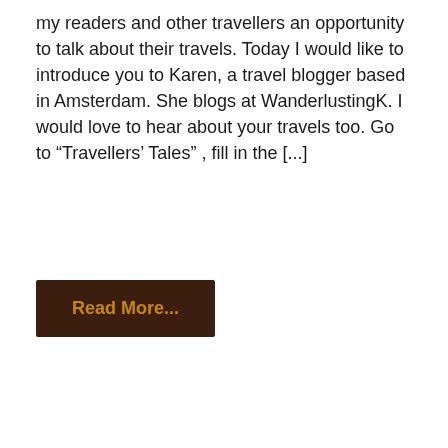my readers and other travellers an opportunity to talk about their travels. Today I would like to introduce you to Karen, a travel blogger based in Amsterdam. She blogs at WanderlustingK. I would love to hear about your travels too. Go to “Travellers’ Tales” , fill in the [...]
Read More...
[Figure (photo): A dark-themed photo section showing a person with brown hair against a dark green foliage background. The upper portion of the image has a very dark/black band, and the lower portion shows the top of a person's head with brown hair against green leafy background.]